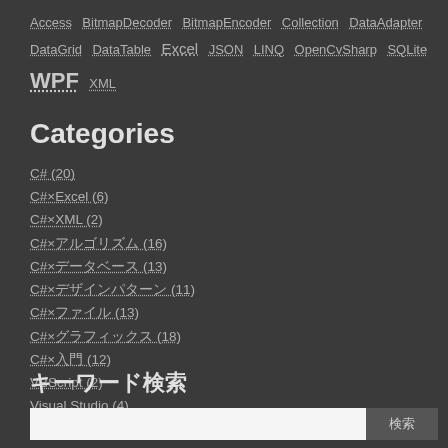Access  BitmapDecoder  BitmapEncoder  Collection  DataAdapter  DataGrid  DataTable  Excel  JSON  LINQ  OpenCvSharp  SQLite  WPF  XML
Categories
C# (20)
C#×Excel (6)
C#×XML (2)
C#×アルゴリズム (16)
C#×データベース (13)
C#×デザインパターン (11)
C#×ファイル (13)
C#×グラフィックス (18)
C#×入門 (12)
VBScript (2)
Visual Studio (4)
雑記記事 (1)
キーワード検索
検索